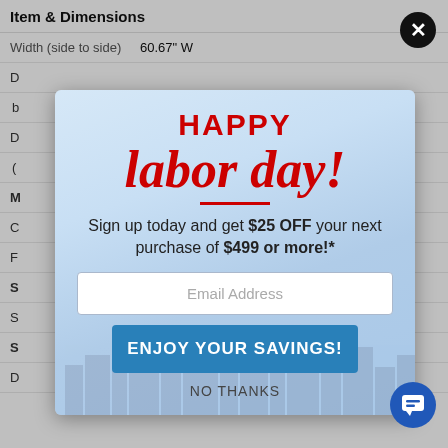Item & Dimensions
| Width (side to side) | 60.67" W |
| D | b |
| D | ( |
| M |  |
| C |  |
| F |  |
| S | S |
| S |  |
| D |  |
[Figure (infographic): Labor Day promotional modal popup overlay on a product page. Modal has a light blue sky background with city skyline silhouette. Red text 'HAPPY' in bold block letters at top, followed by large red italic script text 'labor day!' with red horizontal divider line. Below is promotional text 'Sign up today and get $25 OFF your next purchase of $499 or more!*', an Email Address input field, a blue 'ENJOY YOUR SAVINGS!' button, and 'NO THANKS' link. A black circular X close button appears at top right of modal. A blue chat bubble button is in bottom right corner.]